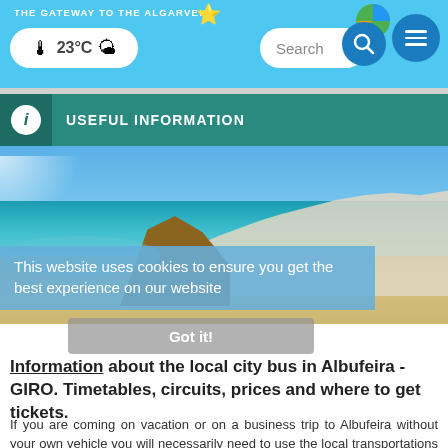THE GATEWAY TO THE ALGARVE! | 23°C | Search
USEFUL INFORMATION
[Figure (photo): Aerial panoramic view of Albufeira beach and coastal city with white buildings, sandy beach and turquoise sea]
This website uses cookies to ensure you get the best experience on our website
Got it!
Information about the local city bus in Albufeira - GIRO. Timetables, circuits, prices and where to get tickets.
If you are coming on vacation or on a business trip to Albufeira without your own vehicle you will necessarily need to use the local transportations to move around and